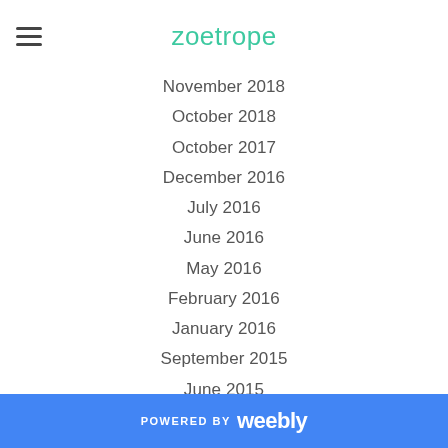zoetrope
November 2018
October 2018
October 2017
December 2016
July 2016
June 2016
May 2016
February 2016
January 2016
September 2015
June 2015
May 2015
April 2015
February 2015
November 2014
September 2014
August 2014
POWERED BY weebly